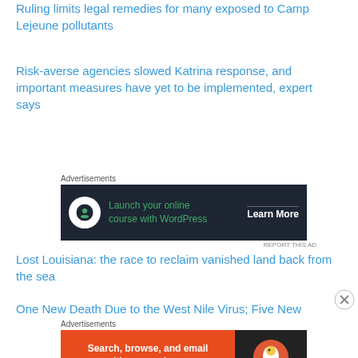Ruling limits legal remedies for many exposed to Camp Lejeune pollutants
Risk-averse agencies slowed Katrina response, and important measures have yet to be implemented, expert says
[Figure (screenshot): Advertisement for WordPress online course: 'Launch your online course with WordPress' with Learn More button]
Lost Louisiana: the race to reclaim vanished land back from the sea
One New Death Due to the West Nile Virus; Five New
[Figure (screenshot): Advertisement for DuckDuckGo: 'Search, browse, and email with more privacy. All in One Free App']